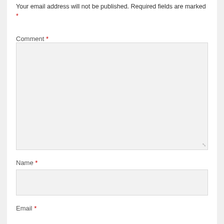Your email address will not be published. Required fields are marked *
Comment *
[Figure (other): Empty comment textarea input box with resize handle]
Name *
[Figure (other): Empty name text input box]
Email *